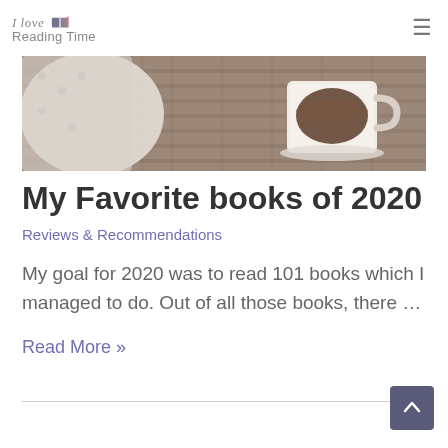I Love Reading Time
[Figure (photo): Close-up photo of a cup of coffee/tea and a knitted sweater or blanket on a woven surface]
My Favorite books of 2020
Reviews & Recommendations
My goal for 2020 was to read 101 books which I managed to do. Out of all those books, there …
Read More »